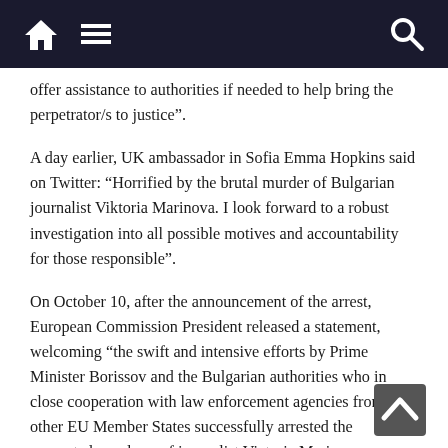[navigation bar with home, menu, and search icons]
offer assistance to authorities if needed to help bring the perpetrator/s to justice”.
A day earlier, UK ambassador in Sofia Emma Hopkins said on Twitter: “Horrified by the brutal murder of Bulgarian journalist Viktoria Marinova. I look forward to a robust investigation into all possible motives and accountability for those responsible”.
On October 10, after the announcement of the arrest, European Commission President released a statement, welcoming “the swift and intensive efforts by Prime Minister Borissov and the Bulgarian authorities who in close cooperation with law enforcement agencies from other EU Member States successfully arrested the suspected murderer of journalist Victoria Marinova.